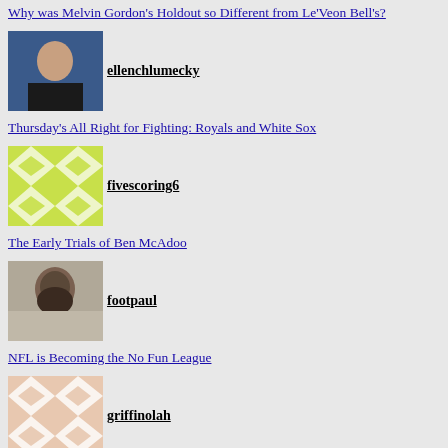Why was Melvin Gordon's Holdout so Different from Le'Veon Bell's?
ellenchlumecky
Thursday's All Right for Fighting: Royals and White Sox
fivescoring6
The Early Trials of Ben McAdoo
footpaul
NFL is Becoming the No Fun League
griffinolah
The Life Behind a Meme: The Story of Bishop Sycamore and ESPN
jmoenin